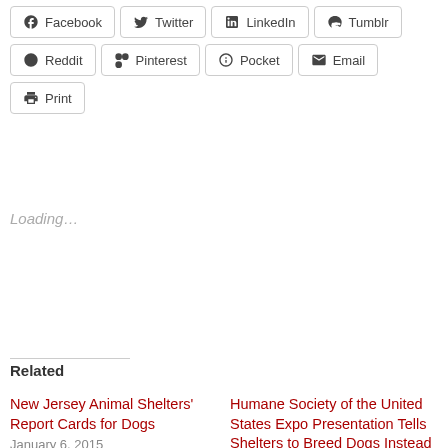Facebook
Twitter
LinkedIn
Tumblr
Reddit
Pinterest
Pocket
Email
Print
Loading...
Related
New Jersey Animal Shelters' Report Cards for Dogs
January 6, 2015
In "Adoption"
Humane Society of the United States Expo Presentation Tells Shelters to Breed Dogs Instead of Rescuing Them
June 22, 2022
In "ASPCA"
Shelter Reform Roundtable Set Up to Fail
February 9, 2015
In "Animal Alliance"